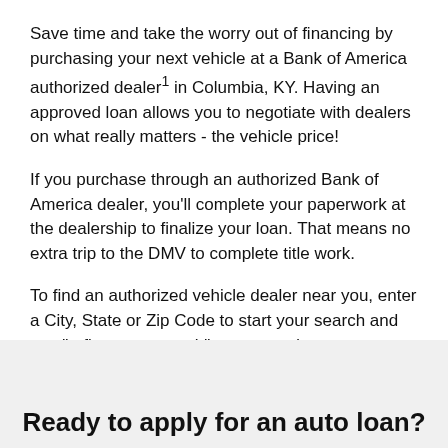Save time and take the worry out of financing by purchasing your next vehicle at a Bank of America authorized dealer¹ in Columbia, KY. Having an approved loan allows you to negotiate with dealers on what really matters - the vehicle price!
If you purchase through an authorized Bank of America dealer, you'll complete your paperwork at the dealership to finalize your loan. That means no extra trip to the DMV to complete title work.
To find an authorized vehicle dealer near you, enter a City, State or Zip Code to start your search and use "refine your search" to narrow down your options based on specific dealer or vehicle brand.
Ready to apply for an auto loan?